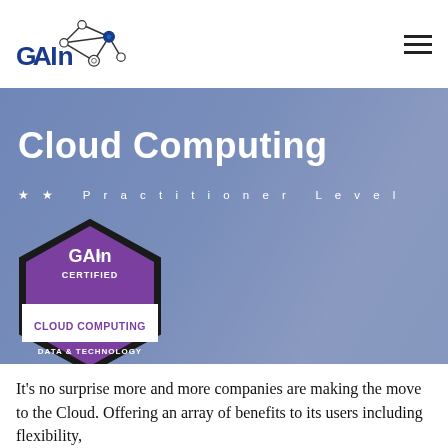[Figure (logo): GAIn logo with network graph icon and text 'GAIn']
Cloud Computing
★★  Practitioner Level
[Figure (illustration): GAIn Certified badge – hexagonal shape, purple, with text: GAIn CERTIFIED, CLOUD COMPUTING, DATA & TECHNOLOGY, 4280]
It's no surprise more and more companies are making the move to the Cloud. Offering an array of benefits to its users including flexibility,